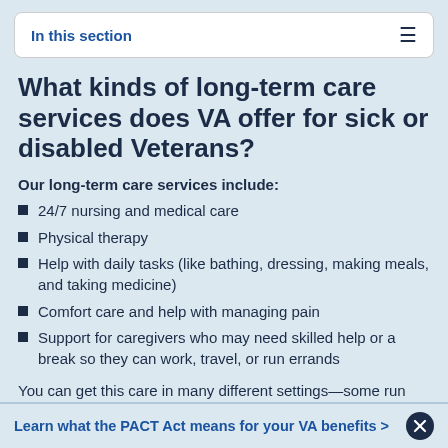In this section
What kinds of long-term care services does VA offer for sick or disabled Veterans?
Our long-term care services include:
24/7 nursing and medical care
Physical therapy
Help with daily tasks (like bathing, dressing, making meals, and taking medicine)
Comfort care and help with managing pain
Support for caregivers who may need skilled help or a break so they can work, travel, or run errands
You can get this care in many different settings—some run
Learn what the PACT Act means for your VA benefits >